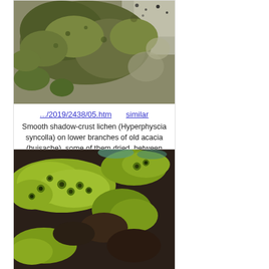[Figure (photo): Close-up photo of smooth shadow-crust lichen (Hyperphyscia syncolla) on bark, showing green-gray crustose and foliose thalli on lower branches of old acacia (huisache)]
.../2019/2438/05.htm    similar
Smooth shadow-crust lichen (Hyperphyscia syncolla) on lower branches of old acacia (huisache), some of them dried, between Signature Park 11 apartments and Oil Well near Park Hudson Trail. Bryan, Texas, January 27, 2019
[Figure (photo): Close-up photo of yellow-green crustose lichen with apothecia (circular fruiting bodies) on dark bark surface]